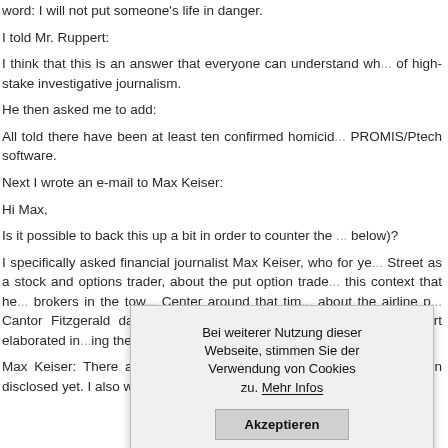word: I will not put someone's life in danger.
I told Mr. Ruppert:
I think that this is an answer that everyone can understand wh... of high-stake investigative journalism.
He then asked me to add:
All told there have been at least ten confirmed homicid... PROMIS/Ptech software.
Next I wrote an e-mail to Max Keiser:
Hi Max,
Is it possible to back this up a bit in order to counter the ... below)?
I specifically asked financial journalist Max Keiser, who for ye... Street as a stock and options trader, about the put option trade... this context that he... brokers in the tow... Center around that tim... about the airline p... Cantor Fitzgerald days bef... talked with me about... which Ruppert elaborated in... ing the Rubicon.
Max Keiser: There are many aspects concerning these option... been disclosed yet. I also worked at Alex Brown & Sons (AB...
[Figure (other): Cookie consent overlay pop-up in German: 'Bei weiterer Nutzung dieser Webseite, stimmen Sie der Verwendung von Cookies zu. Mehr Infos' with an 'Akzeptieren' button.]